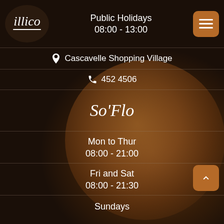[Figure (logo): Illico cafe logo - oval dark brown shape with italic white text 'illico' and a white underline]
Public Holidays
08:00 - 13:00
[Figure (illustration): Brown hamburger menu icon (three horizontal lines) on brown rounded square button]
Cascavelle Shopping Village
452 4506
So'Flo
Mon to Thur
08:00 - 21:00
Fri and Sat
08:00 - 21:30
Sundays